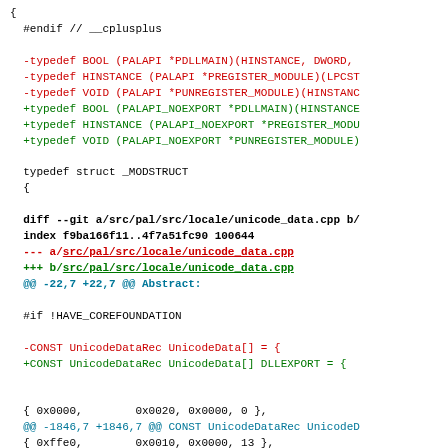[Figure (screenshot): A code diff showing changes to C/C++ source files. The diff shows typedef changes replacing PALAPI with PALAPI_NOEXPORT for PDLLMAIN, PREGISTER_MODULE, and PUNREGISTER_MODULE. Also shows changes in unicode_data.cpp adding DLLEXPORT to UnicodeData array declaration and changes to CONST UINT UNICODE_DATA_SIZE.]